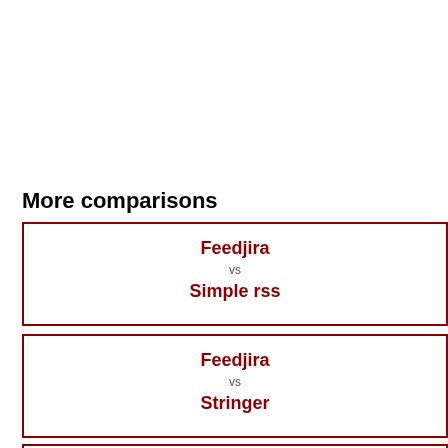More comparisons
| Feedjira | vs | Simple rss |
| Feedjira | vs | Stringer |
| Feedjira |